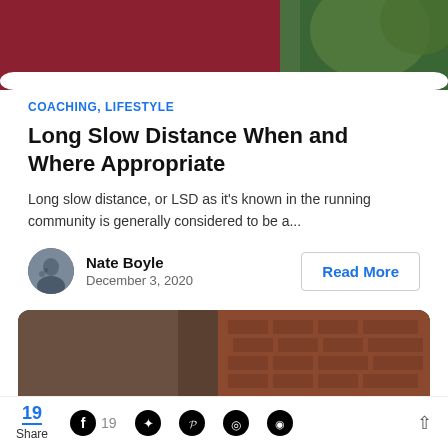[Figure (photo): Partial photo of a person in a dark red/maroon top with green foliage in background, cropped at top]
COACHING, LIFESTYLE
Long Slow Distance When and Where Appropriate
Long slow distance, or LSD as it's known in the running community is generally considered to be a...
[Figure (photo): Author avatar: small circular photo of Nate Boyle]
Nate Boyle
December 3, 2020
Read More
[Figure (photo): Photo of a person in black athletic wear looking upward, with a brick wall in the background and a kettlebell visible]
19 Share   19 (Facebook)  (Twitter) (Pinterest) (WhatsApp) (Messenger)